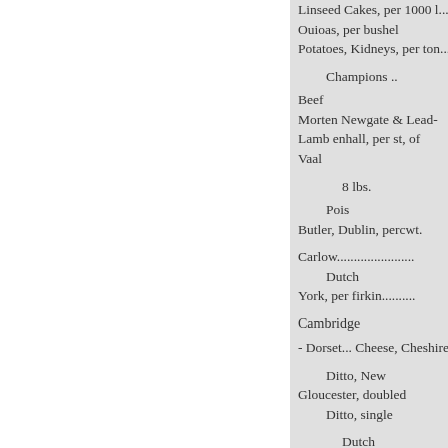Linseed Cakes, per 1000 l...
Ouioas, per bushel
Potatoes, Kidneys, per ton...
Champions ..
Beef
Morten Newgate & Lead-
Lamb enhall, per st, of
Vaal
8 lbs.
Pois
Butler, Dublin, percwt.
Carlow......................
Dutch
York, per firkin..........
Cambridge
- Dorset... Cheese, Cheshire, C
Ditto, New
Gloucester, doubled
Ditto, single
Dutch